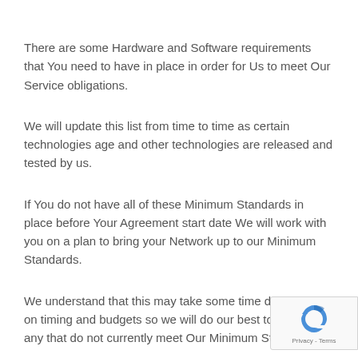There are some Hardware and Software requirements that You need to have in place in order for Us to meet Our Service obligations.
We will update this list from time to time as certain technologies age and other technologies are released and tested by us.
If You do not have all of these Minimum Standards in place before Your Agreement start date We will work with you on a plan to bring your Network up to our Minimum Standards.
We understand that this may take some time depending on timing and budgets so we will do our best to support any that do not currently meet Our Minimum Standards.